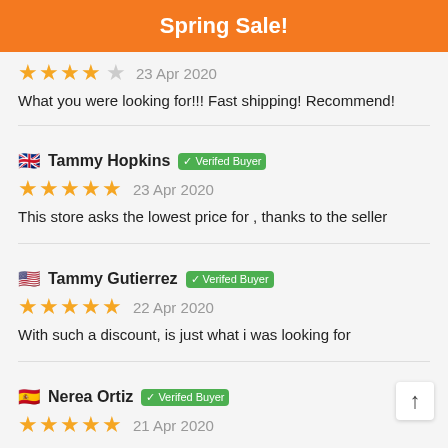Spring Sale!
What you were looking for!!! Fast shipping! Recommend!
🇬🇧 Tammy Hopkins ✓ Verifed Buyer
★★★★★ 23 Apr 2020
This store asks the lowest price for , thanks to the seller
🇺🇸 Tammy Gutierrez ✓ Verifed Buyer
★★★★★ 22 Apr 2020
With such a discount, is just what i was looking for
🇪🇸 Nerea Ortiz ✓ Verifed Buyer
★★★★★ 21 Apr 2020